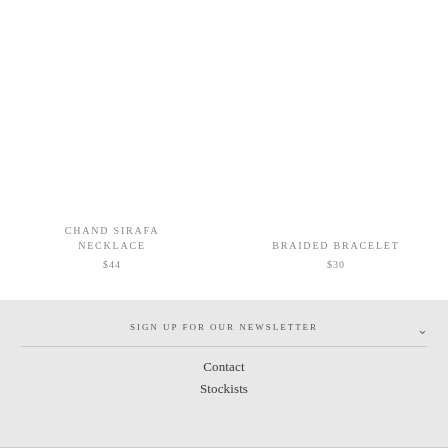CHAND SIRAFA NECKLACE
$44
BRAIDED BRACELET
$30
SIGN UP FOR OUR NEWSLETTER
Contact
Stockists
USD